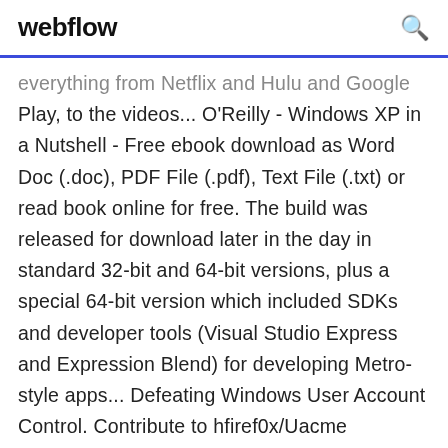webflow
everything from Netflix and Hulu and Google Play, to the videos... O'Reilly - Windows XP in a Nutshell - Free ebook download as Word Doc (.doc), PDF File (.pdf), Text File (.txt) or read book online for free. The build was released for download later in the day in standard 32-bit and 64-bit versions, plus a special 64-bit version which included SDKs and developer tools (Visual Studio Express and Expression Blend) for developing Metro-style apps... Defeating Windows User Account Control. Contribute to hfiref0x/Uacme development by creating an account on GitHub. Platformy: (Android); Aplikace: (34); % Slevy: (0); Seznamy: (0); Recenze: (0); Videa: (4);